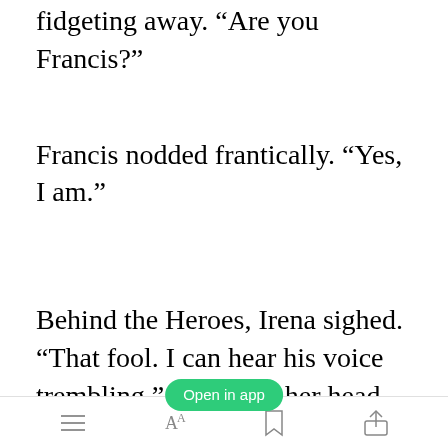fidgeting away. “Are you Francis?”
Francis nodded frantically. “Yes, I am.”
Behind the Heroes, Irena sighed. “That fool. I can hear his voice trembling.” Oz shook her head. “He
[Figure (screenshot): Mobile app toolbar with Open in app button overlay, showing list icon, font size (AA), bookmark, and share icons]